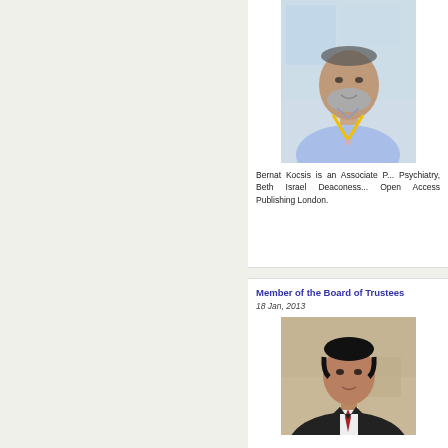[Figure (photo): Portrait photo of Bernat Kocsis, a man with grey beard wearing a blue shirt and yellow lanyard, standing in front of a poster.]
Bernat Kocsis is an Associate Professor of Psychiatry, Beth Israel Deaconess... Open Access Publishing London.
Member of the Board of Trustees
18 Jan, 2013
[Figure (photo): Portrait photo of a man in a dark suit with a red tie, standing in front of a light-colored wall.]